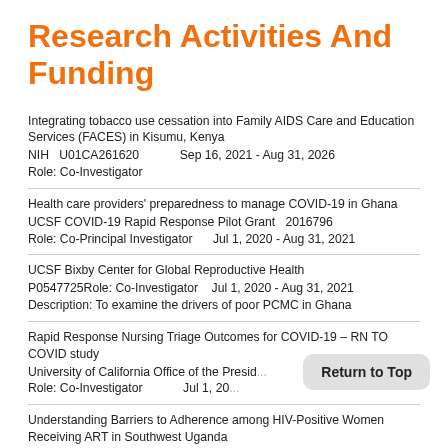Research Activities And Funding
Integrating tobacco use cessation into Family AIDS Care and Education Services (FACES) in Kisumu, Kenya
NIH  U01CA261620        Sep 16, 2021 - Aug 31, 2026
Role: Co-Investigator
Health care providers' preparedness to manage COVID-19 in Ghana
UCSF COVID-19 Rapid Response Pilot Grant  2016796
Role: Co-Principal Investigator     Jul 1, 2020 - Aug 31, 2021
UCSF Bixby Center for Global Reproductive Health
P0547725Role: Co-Investigator   Jul 1, 2020 - Aug 31, 2021
Description: To examine the drivers of poor PCMC in Ghana
Rapid Response Nursing Triage Outcomes for COVID-19 – RN TO COVID study
University of California Office of the Presid...
Role: Co-Investigator        Jul 1, 20...
Understanding Barriers to Adherence among HIV-Positive Women Receiving ART in Southwest Uganda